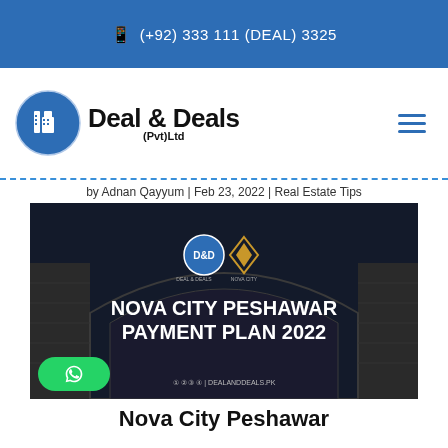📱 (+92) 333 111 (DEAL) 3325
[Figure (logo): Deal & Deals (Pvt)Ltd company logo with blue circular emblem and hamburger menu icon]
by Adnan Qayyum | Feb 23, 2022 | Real Estate Tips
[Figure (photo): Nova City Peshawar Payment Plan 2022 promotional image showing building entrance gate with Deal & Deals and Nova City logos, social media icons and DEALANDDEALS.PK website]
Nova City Peshawar